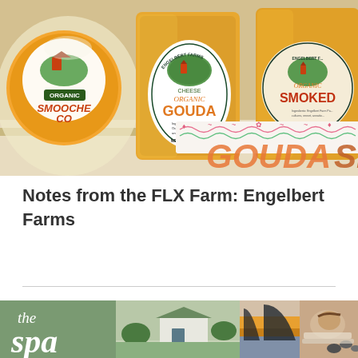[Figure (photo): Photograph of Engelbert Farms organic cheese products in packaging. Left shows Organic Smoocheco, center shows Organic Gouda with Engelbert Farms label showing ingredients and NET WT 8 oz (227g), right shows Organic Smoked cheese. Bottom shows a banner strip with colorful wavy pattern and large text 'GOUDA' and 'Sm'.]
Notes from the FLX Farm: Engelbert Farms
[Figure (photo): Composite image showing spa branding. Left section has green background with italic text 'the spa'. Center section shows a building with green roof. Right section shows a dramatic sunset/water view and a person receiving a massage.]